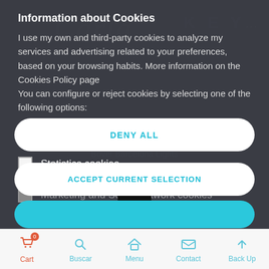[Figure (screenshot): Website background showing a shopping site with cursive 'Carla' logo and 'KEY' text, product name 'Bover Barcelona Lights' and price '€448.91']
Information about Cookies
I use my own and third-party cookies to analyze my services and advertising related to your preferences, based on your browsing habits. More information on the Cookies Policy page
You can configure or reject cookies by selecting one of the following options:
Mandatory cookies
Statistics cookies
Marketing and Social network cookies
DENY ALL
ACCEPT CURRENT SELECTION
Cart  Buscar  Menu  Contact  Back Up